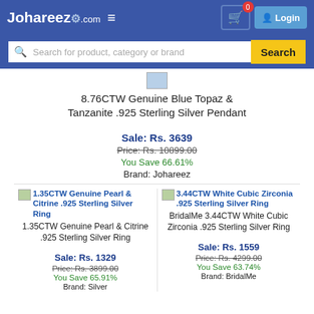Johareez.com — Login — Search bar
[Figure (screenshot): Small product image placeholder (pendant)]
8.76CTW Genuine Blue Topaz & Tanzanite .925 Sterling Silver Pendant
Sale: Rs. 3639
Price: Rs. 10899.00
You Save 66.61%
Brand: Johareez
1.35CTW Genuine Pearl & Citrine .925 Sterling Silver Ring
Sale: Rs. 1329
Price: Rs. 3899.00
You Save 65.91%
BridalMe 3.44CTW White Cubic Zirconia .925 Sterling Silver Ring
Sale: Rs. 1559
Price: Rs. 4299.00
You Save 63.74%